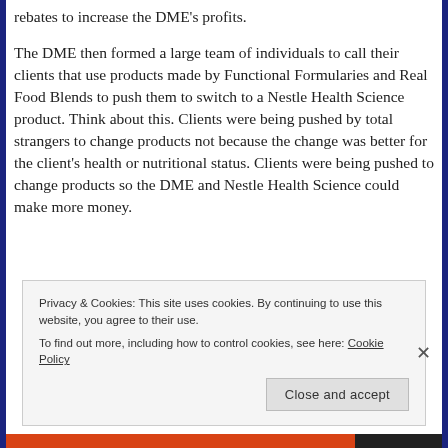rebates to increase the DME's profits.
The DME then formed a large team of individuals to call their clients that use products made by Functional Formularies and Real Food Blends to push them to switch to a Nestle Health Science product. Think about this. Clients were being pushed by total strangers to change products not because the change was better for the client's health or nutritional status. Clients were being pushed to change products so the DME and Nestle Health Science could make more money.
Privacy & Cookies: This site uses cookies. By continuing to use this website, you agree to their use.
To find out more, including how to control cookies, see here: Cookie Policy